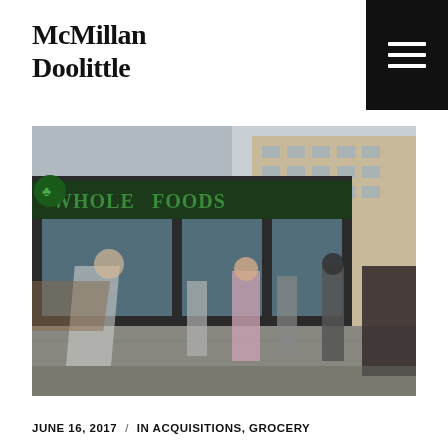McMillan Doolittle
[Figure (photo): Street-level photo of a Whole Foods Market storefront with pedestrians walking past, motion blur on some figures, tall glass-fronted building in an urban setting]
JUNE 16, 2017  /  IN ACQUISITIONS, GROCERY